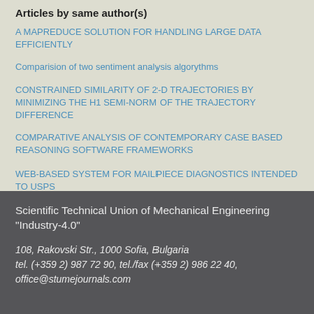Articles by same author(s)
A MAPREDUCE SOLUTION FOR HANDLING LARGE DATA EFFICIENTLY
Comparision of two sentiment analysis algorythms
CONSTRAINED SIMILARITY OF 2-D TRAJECTORIES BY MINIMIZING THE H1 SEMI-NORM OF THE TRAJECTORY DIFFERENCE
COMPARATIVE ANALYSIS OF CONTEMPORARY CASE BASED REASONING SOFTWARE FRAMEWORKS
WEB-BASED SYSTEM FOR MAILPIECE DIAGNOSTICS INTENDED TO USPS
Scientific Technical Union of Mechanical Engineering "Industry-4.0"
108, Rakovski Str., 1000 Sofia, Bulgaria
tel. (+359 2) 987 72 90, tel./fax (+359 2) 986 22 40,
office@stumejournals.com